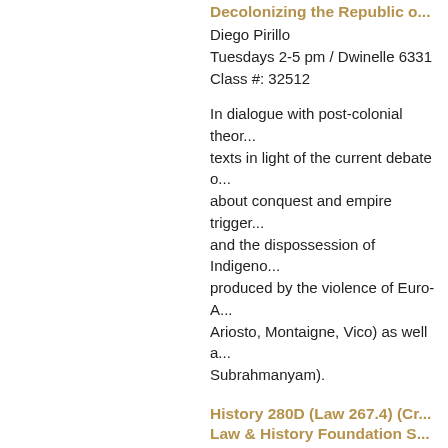Decolonizing the Republic o...
Diego Pirillo
Tuesdays 2-5 pm / Dwinelle 6331
Class #: 32512
In dialogue with post-colonial theor... texts in light of the current debate d... about conquest and empire trigger... and the dispossession of Indigeno... produced by the violence of Euro-A... Ariosto, Montaigne, Vico) as well a... Subrahmanyam).
History 280D (Law 267.4) (Cr... Law & History Foundation S...
Christopher Tomlins
Mondays 2:10-5 pm / 2240 Piedmo...
(first class is Monday, August 22)
Class #: 25753
Instructor Consent Required for En...